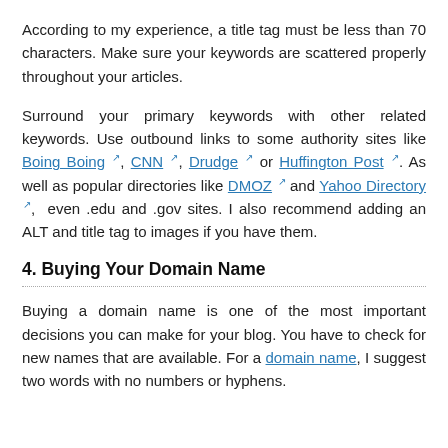According to my experience, a title tag must be less than 70 characters. Make sure your keywords are scattered properly throughout your articles.
Surround your primary keywords with other related keywords. Use outbound links to some authority sites like Boing Boing, CNN, Drudge or Huffington Post. As well as popular directories like DMOZ and Yahoo Directory, even .edu and .gov sites. I also recommend adding an ALT and title tag to images if you have them.
4. Buying Your Domain Name
Buying a domain name is one of the most important decisions you can make for your blog. You have to check for new names that are available. For a domain name, I suggest two words with no numbers or hyphens.